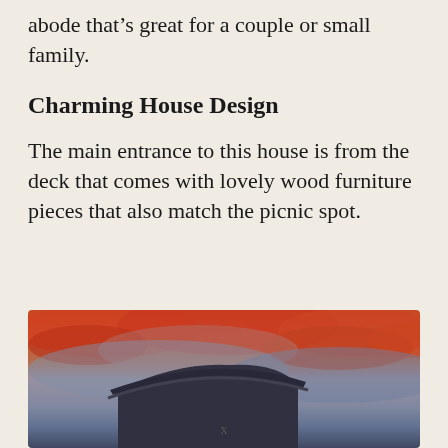abode that’s great for a couple or small family.
Charming House Design
The main entrance to this house is from the deck that comes with lovely wood furniture pieces that also match the picnic spot.
[Figure (photo): Photograph of a house exterior with dramatic orange and pink cloudy sunset sky above a dark roofline in silhouette.]